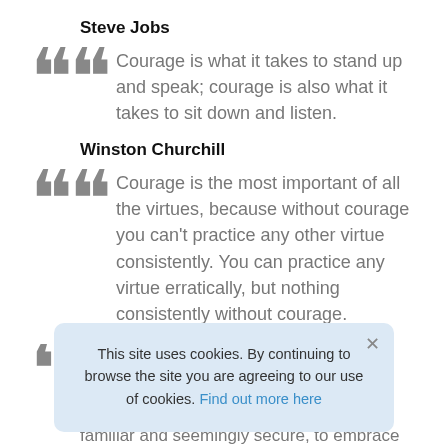Steve Jobs
Courage is what it takes to stand up and speak; courage is also what it takes to sit down and listen.
Winston Churchill
Courage is the most important of all the virtues, because without courage you can't practice any other virtue consistently. You can practice any virtue erratically, but nothing consistently without courage.
Maya Angelou
This site uses cookies. By continuing to browse the site you are agreeing to our use of cookies. Find out more here
familiar and seemingly secure, to embrace